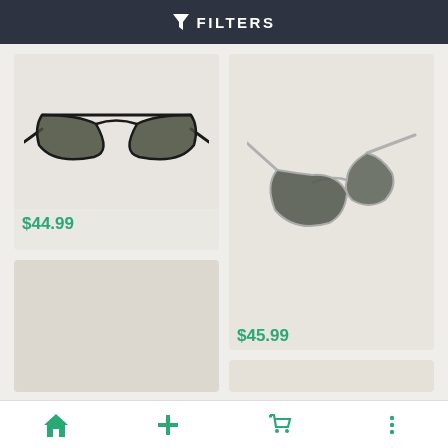FILTERS
[Figure (photo): Black aviator sunglasses with dark lenses and metal frame, front view on beige background]
$44.99
[Figure (photo): Silver aviator sunglasses with grey lenses, angled side view on beige background]
$45.99
Home | Add | Cart | More